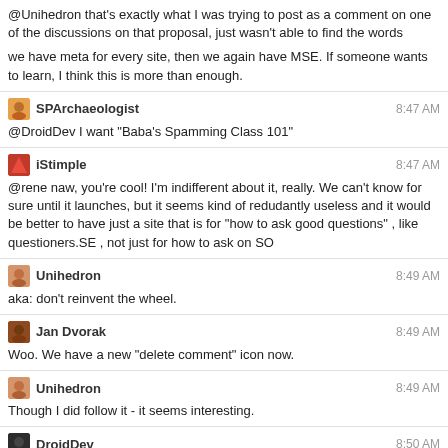@Unihedron that's exactly what I was trying to post as a comment on one of the discussions on that proposal, just wasn't able to find the words
we have meta for every site, then we again have MSE. If someone wants to learn, I think this is more than enough.
SPArchaeologist 8:47 AM
@DroidDev I want "Baba's Spamming Class 101"
iStimple 8:47 AM
@rene naw, you're cool! I'm indifferent about it, really. We can't know for sure until it launches, but it seems kind of redudantly useless and it would be better to have just a site that is for "how to ask good questions" , like questioners.SE , not just for how to ask on SO
Unihedron 8:49 AM
aka: don't reinvent the wheel.
Jan Dvorak 8:49 AM
Woo. We have a new "delete comment" icon now.
Unihedron 8:49 AM
Though I did follow it - it seems interesting.
DroidDev 8:50 AM
@SPArchaeologist I think that is blatantly off-topic :P
rene 8:51 AM
@JanDvorak did it needed to be updated? The old icon didn't work?